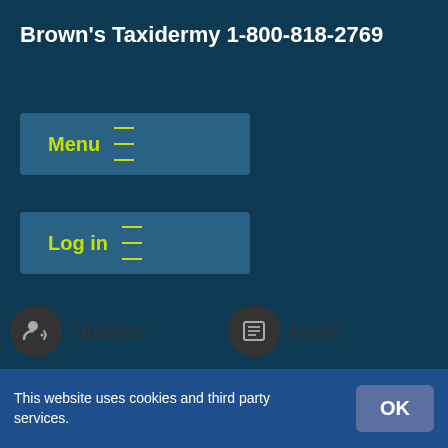Brown's Taxidermy 1-800-818-2769
Menu ☰
Log in ☰
Updates
Receive the latest fishing report for port Canaveral here.
News
Receive the latest fishing report for port Canaveral here.
This website uses cookies and third party services. OK